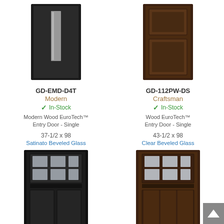[Figure (photo): Dark modern entry door with narrow vertical glass panel, product GD-EMD-D4T]
GD-EMD-D4T
Modern
In-Stock
Modern Wood EuroTech™ Entry Door - Single
37-1/2 x 98
Satinato Beveled Glass
[Figure (photo): Dark brown craftsman entry door with two raised panels, product GD-112PW-DS]
GD-112PW-DS
Craftsman
In-Stock
Wood EuroTech™ Entry Door - Single
43-1/2 x 98
Clear Beveled Glass
[Figure (photo): Dark black craftsman entry door with 6-light glass window at top, product GD-112PW-DS]
GD-112PW-DS
Craftsman
[Figure (photo): Dark brown craftsman entry door with 6-light glass window at top, product GD-113PW-DS]
GD-113PW-DS
Craftsman